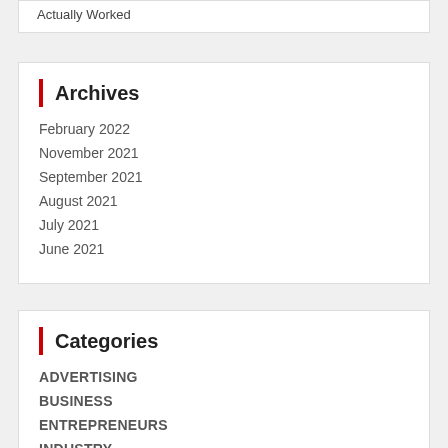Actually Worked
Archives
February 2022
November 2021
September 2021
August 2021
July 2021
June 2021
Categories
ADVERTISING
BUSINESS
ENTREPRENEURS
INDUSTRY